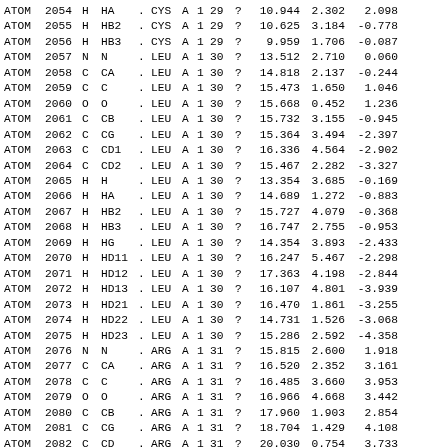| ATOM | 2054 | H | HA | . | CYS | A | 1 | 29 | ? | 10.944 | 2.302 | 2.098 |
| ATOM | 2055 | H | HB2 | . | CYS | A | 1 | 29 | ? | 10.625 | 3.184 | -0.778 |
| ATOM | 2056 | H | HB3 | . | CYS | A | 1 | 29 | ? | 9.959 | 1.706 | -0.087 |
| ATOM | 2057 | N | N | . | LEU | A | 1 | 30 | ? | 13.512 | 2.710 | 0.060 |
| ATOM | 2058 | C | CA | . | LEU | A | 1 | 30 | ? | 14.818 | 2.137 | -0.244 |
| ATOM | 2059 | C | C | . | LEU | A | 1 | 30 | ? | 15.473 | 1.650 | 1.046 |
| ATOM | 2060 | O | O | . | LEU | A | 1 | 30 | ? | 15.668 | 0.452 | 1.236 |
| ATOM | 2061 | C | CB | . | LEU | A | 1 | 30 | ? | 15.732 | 3.155 | -0.945 |
| ATOM | 2062 | C | CG | . | LEU | A | 1 | 30 | ? | 15.364 | 3.494 | -2.397 |
| ATOM | 2063 | C | CD1 | . | LEU | A | 1 | 30 | ? | 16.336 | 4.564 | -2.902 |
| ATOM | 2064 | C | CD2 | . | LEU | A | 1 | 30 | ? | 15.467 | 2.282 | -3.327 |
| ATOM | 2065 | H | H | . | LEU | A | 1 | 30 | ? | 13.354 | 3.685 | -0.169 |
| ATOM | 2066 | H | HA | . | LEU | A | 1 | 30 | ? | 14.689 | 1.272 | -0.883 |
| ATOM | 2067 | H | HB2 | . | LEU | A | 1 | 30 | ? | 15.727 | 4.079 | -0.368 |
| ATOM | 2068 | H | HB3 | . | LEU | A | 1 | 30 | ? | 16.747 | 2.755 | -0.953 |
| ATOM | 2069 | H | HG | . | LEU | A | 1 | 30 | ? | 14.354 | 3.893 | -2.433 |
| ATOM | 2070 | H | HD11 | . | LEU | A | 1 | 30 | ? | 16.247 | 5.467 | -2.298 |
| ATOM | 2071 | H | HD12 | . | LEU | A | 1 | 30 | ? | 17.363 | 4.198 | -2.844 |
| ATOM | 2072 | H | HD13 | . | LEU | A | 1 | 30 | ? | 16.107 | 4.801 | -3.939 |
| ATOM | 2073 | H | HD21 | . | LEU | A | 1 | 30 | ? | 16.470 | 1.861 | -3.255 |
| ATOM | 2074 | H | HD22 | . | LEU | A | 1 | 30 | ? | 14.731 | 1.526 | -3.068 |
| ATOM | 2075 | H | HD23 | . | LEU | A | 1 | 30 | ? | 15.286 | 2.592 | -4.358 |
| ATOM | 2076 | N | N | . | ARG | A | 1 | 31 | ? | 15.815 | 2.600 | 1.918 |
| ATOM | 2077 | C | CA | . | ARG | A | 1 | 31 | ? | 16.520 | 2.352 | 3.161 |
| ATOM | 2078 | C | C | . | ARG | A | 1 | 31 | ? | 16.485 | 3.660 | 3.953 |
| ATOM | 2079 | O | O | . | ARG | A | 1 | 31 | ? | 16.966 | 4.668 | 3.442 |
| ATOM | 2080 | C | CB | . | ARG | A | 1 | 31 | ? | 17.960 | 1.903 | 2.854 |
| ATOM | 2081 | C | CG | . | ARG | A | 1 | 31 | ? | 18.704 | 1.429 | 4.108 |
| ATOM | 2082 | C | CD | . | ARG | A | 1 | 31 | ? | 20.030 | 0.754 | 3.733 |
| ATOM | 2083 | N | NE | . | ARG | A | 1 | 31 | ? | 19.800 | -0.519 | 3.031 |